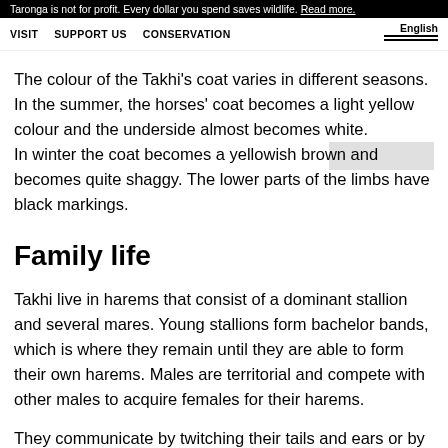Taronga is not for profit. Every dollar you spend saves wildlife. Read more.
VISIT   SUPPORT US   CONSERVATION   English
The colour of the Takhi's coat varies in different seasons. In the summer, the horses' coat becomes a light yellow colour and the underside almost becomes white. In winter the coat becomes a yellowish brown and becomes quite shaggy. The lower parts of the limbs have black markings.
Family life
Takhi live in harems that consist of a dominant stallion and several mares. Young stallions form bachelor bands, which is where they remain until they are able to form their own harems. Males are territorial and compete with other males to acquire females for their harems.
They communicate by twitching their tails and ears or by vocal calls. They also rely mainly on hearing, sight and